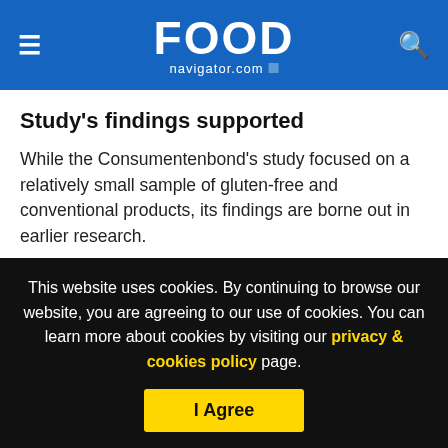FOOD navigator.com
Study's findings supported
While the Consumentenbond's study focused on a relatively small sample of gluten-free and conventional products, its findings are borne out in earlier research.
[Figure (logo): BGG ApplePhenOn product logo on green gradient background]
This website uses cookies. By continuing to browse our website, you are agreeing to our use of cookies. You can learn more about cookies by visiting our privacy & cookies policy page.